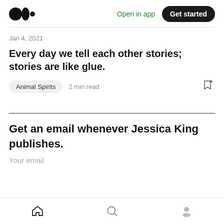Medium logo | Open in app | Get started
Jan 4, 2021
Every day we tell each other stories; stories are like glue.
Animal Spirits  2 min read
Get an email whenever Jessica King publishes.
Your email
Home | Search | Profile